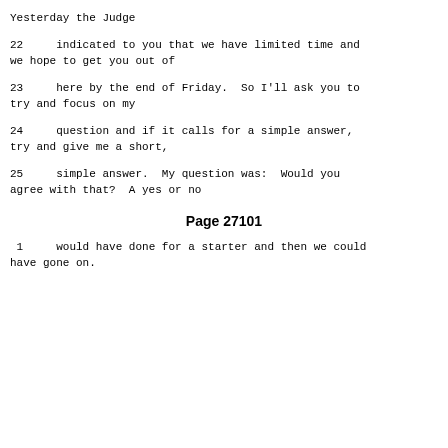Yesterday the Judge
22     indicated to you that we have limited time and we hope to get you out of
23     here by the end of Friday.  So I'll ask you to try and focus on my
24     question and if it calls for a simple answer, try and give me a short,
25     simple answer.  My question was:  Would you agree with that?  A yes or no
Page 27101
1      would have done for a starter and then we could have gone on.